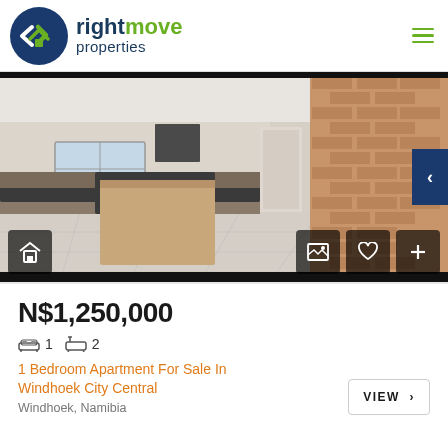[Figure (logo): Rightmove Properties logo with circular blue/green house icon and brand name]
[Figure (photo): Interior photo of an empty apartment kitchen with wooden island, dark countertops, tile floor, window, and brick wall accent]
N$1,250,000
1  2
1 Bedroom Apartment For Sale In Windhoek City Central
Windhoek, Namibia